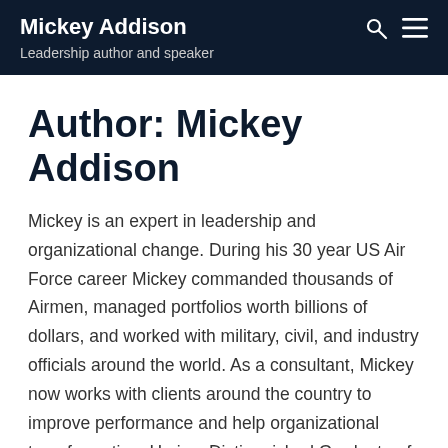Mickey Addison
Leadership author and speaker
Author: Mickey Addison
Mickey is an expert in leadership and organizational change. During his 30 year US Air Force career Mickey commanded thousands of Airmen, managed portfolios worth billions of dollars, and worked with military, civil, and industry officials around the world. As a consultant, Mickey now works with clients around the country to improve performance and help organizational transformation. He is a Distinguished Graduate of the Eisenhower School at